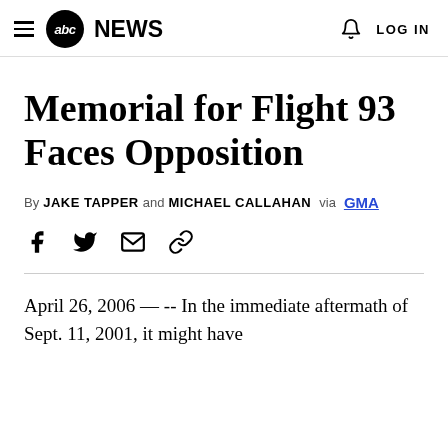abc NEWS | LOG IN
Memorial for Flight 93 Faces Opposition
By JAKE TAPPER and MICHAEL CALLAHAN via GMA
April 26, 2006 &#151; -- In the immediate aftermath of Sept. 11, 2001, it might have